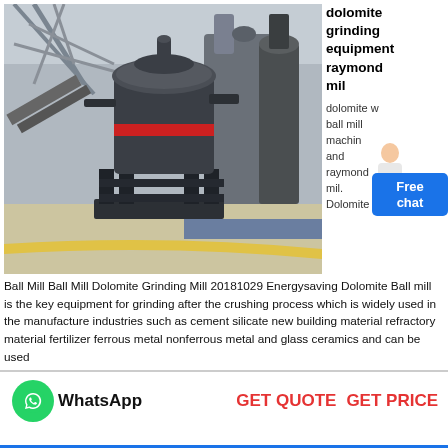[Figure (photo): Industrial Raymond mill / grinding equipment in a large factory setting. A large cylindrical grey grinding machine is in the foreground, with steel framework and additional industrial equipment visible in the background.]
dolomite grinding equipment raymond mil
dolomite w ball mill machin and raymond mil. Dolomite Ball Mill Ball Mill Dolomite Grinding Mill 20181029 Energysaving Dolomite Ball mill is the key equipment for grinding after the crushing process which is widely used in the manufacture industries such as cement silicate new building material refractory material fertilizer ferrous metal nonferrous metal and glass ceramics and can be used
WhatsApp
GET QUOTE  GET PRICE